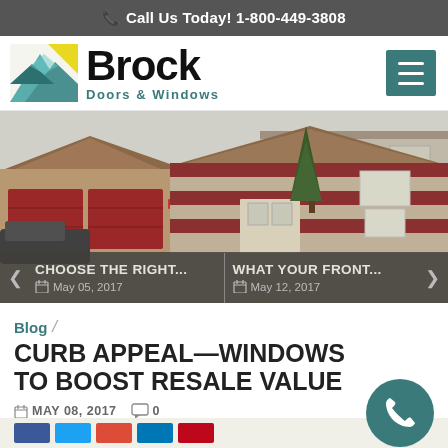Call Us Today! 1-800-449-3808
[Figure (logo): Brock Doors & Windows logo with teal house icon and hamburger menu button]
[Figure (photo): Exterior photo of suburban townhouses with red brick and beige siding, showing two-car garage doors]
CHOOSE THE RIGHT... May 05, 2017
WHAT YOUR FRONT... May 12, 2017
CURB APPEAL—WINDOWS TO BOOST RESALE VALUE
MAY 08, 2017  0